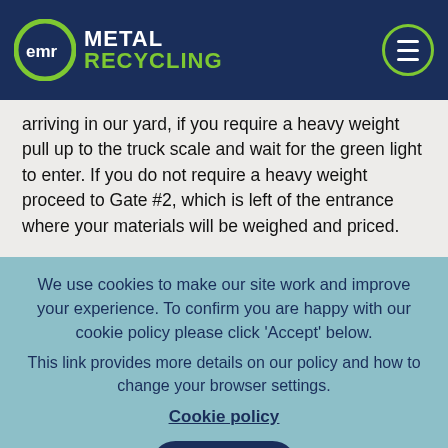EMR Metal Recycling
arriving in our yard, if you require a heavy weight pull up to the truck scale and wait for the green light to enter. If you do not require a heavy weight proceed to Gate #2, which is left of the entrance where your materials will be weighed and priced.
We use cookies to make our site work and improve your experience. To confirm you are happy with our cookie policy please click 'Accept' below. This link provides more details on our policy and how to change your browser settings.
Cookie policy
I agree